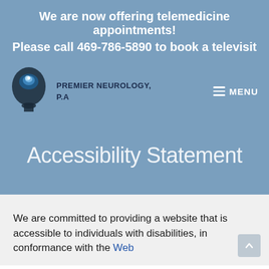We are now offering telemedicine appointments!
Please call 469-786-5890 to book a televisit
[Figure (logo): Premier Neurology, P.A logo showing a human head silhouette with a glowing brain]
PREMIER NEUROLOGY, P.A
☰ MENU
Accessibility Statement
We are committed to providing a website that is accessible to individuals with disabilities, in conformance with the Web